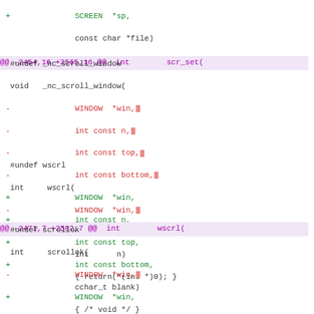diff code block showing git diff output with hunk headers and context/added/removed lines for ncurses scroll functions
@@ -2454,16 +2565,16 @@ int        scr_set(
@@ -2471,7 +2582,7 @@ int        wscrl(